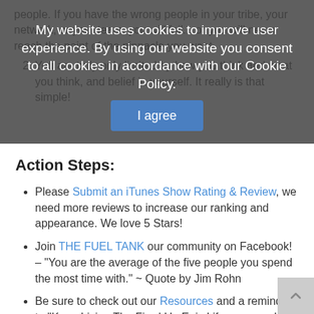people. If you have the wrong people in your tribe, your network, or your team, you will fail... or you will never reach the point of the pinnacle you want.
2. You are truly only limited by how you think and what you think, and belief in yourself. It really is that simple!
My website uses cookies to improve user experience. By using our website you consent to all cookies in accordance with our Cookie Policy.
I agree
Action Steps:
Please Submit an iTunes Show Rating & Review, we need more reviews to increase our ranking and appearance. We love 5 Stars!
Join THE FUEL TANK our community on Facebook! – "You are the average of the five people you spend the most time with." ~ Quote by Jim Rohn
Be sure to check out our Resources and a reminder to "Keep Living The Fired Up Epic Life everyone!" #livethefuel